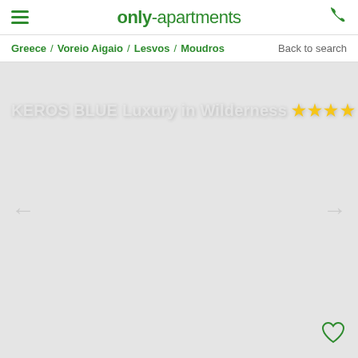only-apartments
Greece / Voreio Aigaio / Lesvos / Moudros   Back to search
KEROS BLUE Luxury in Wilderness ★★★★
[Figure (photo): Light grey image slider area for property photos, with left and right navigation arrows and a heart/favorite icon at bottom right]